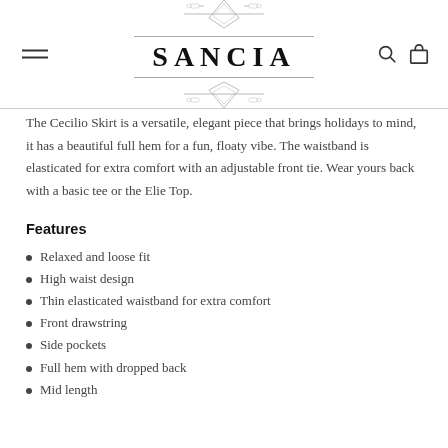SANCIA
The Cecilio Skirt is a versatile, elegant piece that brings holidays to mind, it has a beautiful full hem for a fun, floaty vibe. The waistband is elasticated for extra comfort with an adjustable front tie. Wear yours back with a basic tee or the Elie Top.
Features
Relaxed and loose fit
High waist design
Thin elasticated waistband for extra comfort
Front drawstring
Side pockets
Full hem with dropped back
Mid length